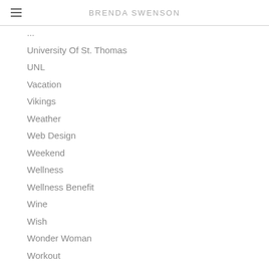BRENDA SWENSON
University Of St. Thomas
UNL
Vacation
Vikings
Weather
Web Design
Weekend
Wellness
Wellness Benefit
Wine
Wish
Wonder Woman
Workout
RSS Feed